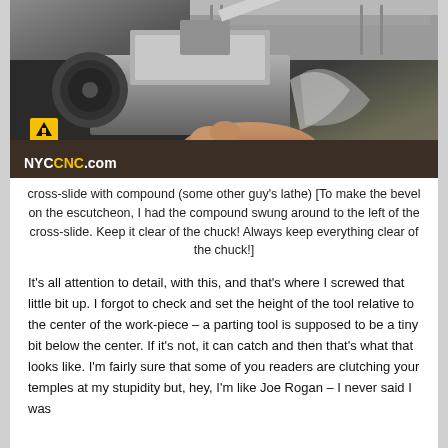[Figure (photo): Photo of a lathe cross-slide with compound, showing a person's hand near the tool. NYCCNC.com watermark visible in lower left.]
cross-slide with compound (some other guy's lathe) [To make the bevel on the escutcheon, I had the compound swung around to the left of the cross-slide. Keep it clear of the chuck! Always keep everything clear of the chuck!]
It's all attention to detail, with this, and that's where I screwed that little bit up. I forgot to check and set the height of the tool relative to the center of the work-piece – a parting tool is supposed to be a tiny bit below the center. If it's not, it can catch and then that's what that looks like. I'm fairly sure that some of you readers are clutching your temples at my stupidity but, hey, I'm like Joe Rogan – I never said I was